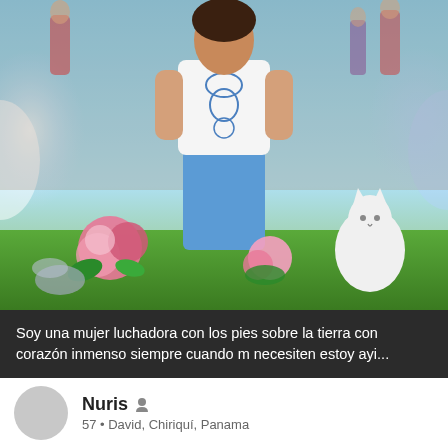[Figure (photo): A woman standing wearing a white and blue patterned blouse and blue skirt at an outdoor event. The photo has a composite background with sky, green grass, pink roses and flowers, and a white cat figurine on the right side.]
Soy una mujer luchadora con los pies sobre la tierra con corazón inmenso siempre cuando m necesiten estoy ayi...
[Figure (photo): Profile card showing a circular gray avatar placeholder, name Nuris with a person icon, age 57, location David, Chiriquí, Panama. Below is a partial photo of a woman with dark hair in a vehicle.]